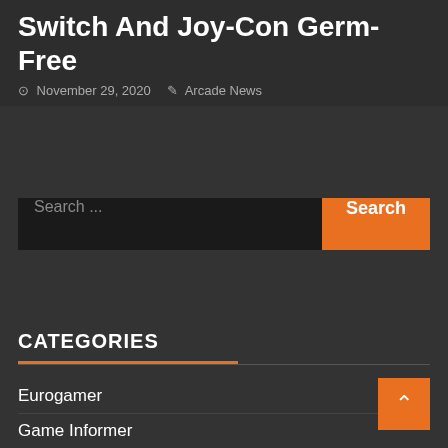Switch And Joy-Con Germ-Free
November 29, 2020   Arcade News
Search ...
CATEGORIES
Eurogamer
Game Informer
IGN
Major Nelson